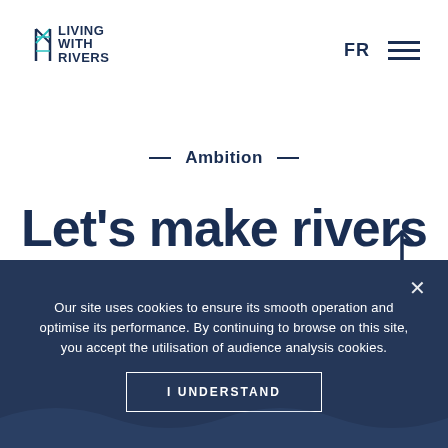[Figure (logo): Living With Rivers logo — stylized river/paddle graphic with text LIVING WITH RIVERS]
FR
[Figure (other): Hamburger menu icon (three horizontal lines)]
[Figure (other): Up arrow navigation icon]
— Ambition —
Let's make rivers the link between us.
Our site uses cookies to ensure its smooth operation and optimise its performance. By continuing to browse on this site, you accept the utilisation of audience analysis cookies.
I UNDERSTAND